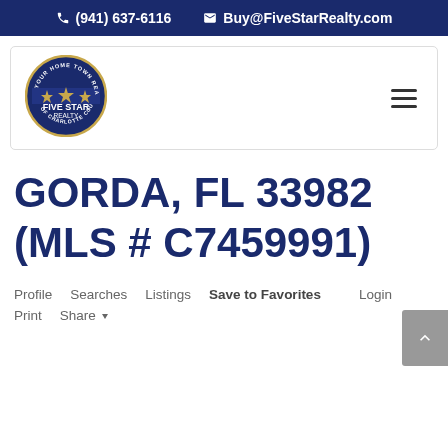(941) 637-6116  Buy@FiveStarRealty.com
[Figure (logo): Five Star Realty of Charlotte County Inc. circular logo with gold stars on navy blue background]
GORDA, FL 33982 (MLS # C7459991)
Profile
Searches
Listings
Save to Favorites
Login
Print
Share